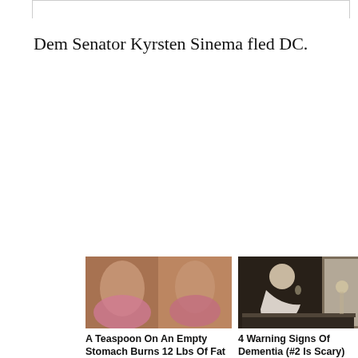Dem Senator Kyrsten Sinema fled DC.
[Figure (screenshot): Promoted content widget with 'Promoted X' label and two ad tiles below a horizontal divider]
[Figure (photo): Two women in pink pajamas sitting on a couch]
A Teaspoon On An Empty Stomach Burns 12 Lbs Of Fat A Week Safely!
13,128
[Figure (photo): Elderly person sitting on the edge of a bed in a dimly lit room]
4 Warning Signs Of Dementia (#2 Is Scary)
52,230